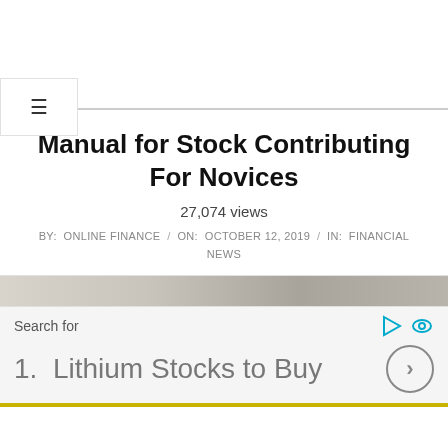☰
Manual for Stock Contributing For Novices
27,074 views
BY: ONLINE FINANCE / ON: OCTOBER 12, 2019 / IN: FINANCIAL NEWS
[Figure (other): Partial image strip visible at bottom of article header area]
Search for
1. Lithium Stocks to Buy